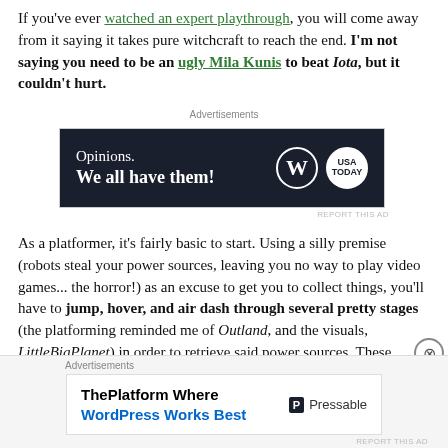If you've ever watched an expert playthrough, you will come away from it saying it takes pure witchcraft to reach the end. I'm not saying you need to be an ugly Mila Kunis to beat Iota, but it couldn't hurt.
[Figure (screenshot): Advertisement banner with dark navy background reading 'Opinions. We all have them!' with WordPress and USA Today logos]
As a platformer, it's fairly basic to start. Using a silly premise (robots steal your power sources, leaving you no way to play video games... the horror!) as an excuse to get you to collect things, you'll have to jump, hover, and air dash through several pretty stages (the platforming reminded me of Outland, and the visuals, LittleBigPlanet) in order to retrieve said power sources. These energy pellets in turn power your
[Figure (screenshot): Advertisement banner reading 'ThePlatform Where WordPress Works Best' with Pressable logo]